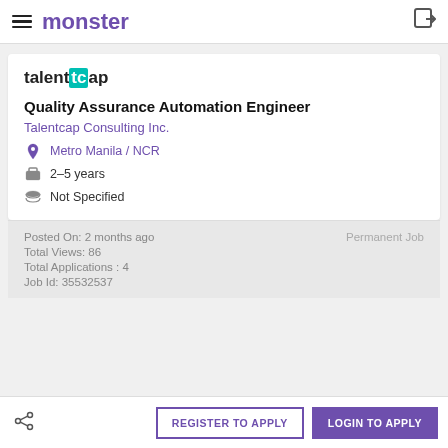monster
[Figure (logo): Talentcap logo with teal 'tc' highlight box]
Quality Assurance Automation Engineer
Talentcap Consulting Inc.
Metro Manila / NCR
2-5 years
Not Specified
Posted On: 2 months ago
Total Views: 86
Total Applications : 4
Job Id: 35532537
Permanent Job
REGISTER TO APPLY
LOGIN TO APPLY